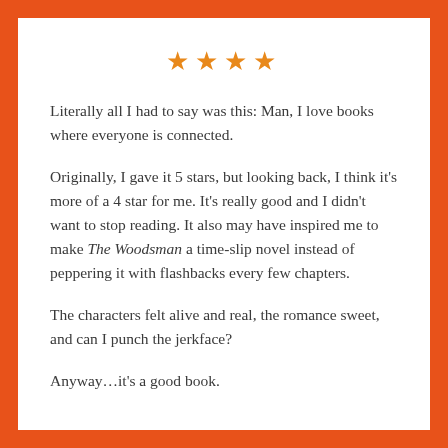[Figure (other): Four orange star rating icons displayed centered at the top]
Literally all I had to say was this: Man, I love books where everyone is connected.
Originally, I gave it 5 stars, but looking back, I think it’s more of a 4 star for me. It’s really good and I didn’t want to stop reading. It also may have inspired me to make The Woodsman a time-slip novel instead of peppering it with flashbacks every few chapters.
The characters felt alive and real, the romance sweet, and can I punch the jerkface?
Anyway…it’s a good book.